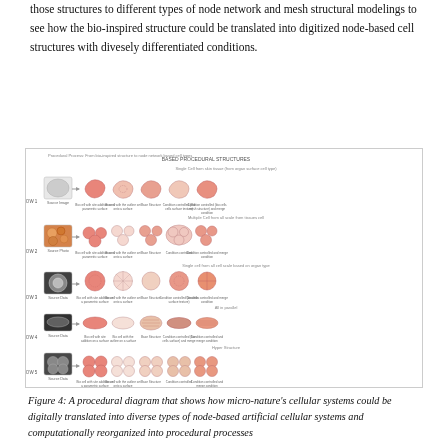those structures to different types of node network and mesh structural modelings to see how the bio-inspired structure could be translated into digitized node-based cell structures with divesely differentiated conditions.
[Figure (illustration): A procedural diagram showing five rows of biological cell types (kidney-shaped cells, clustered cells, round cells with internal mesh, elongated cells, and multi-lobed cells) with arrows indicating how micro-nature's cellular systems are digitally translated into diverse types of node-based artificial cellular systems. Each row shows a source image, an arrow, and several stages of digital reinterpretation with labels.]
Figure 4: A procedural diagram that shows how micro-nature's cellular systems could be digitally translated into diverse types of node-based artificial cellular systems and computationally reorganized into procedural processes